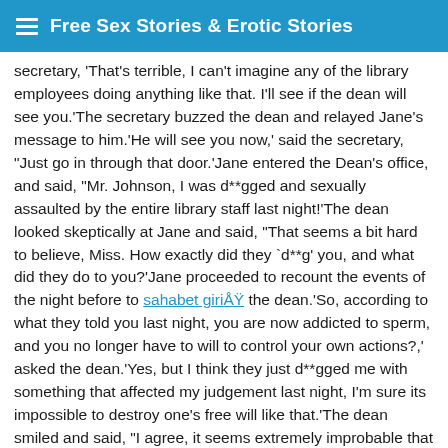Free Sex Stories & Erotic Stories
secretary, 'That's terrible, I can't imagine any of the library employees doing anything like that. I'll see if the dean will see you.'The secretary buzzed the dean and relayed Jane's message to him.'He will see you now,' said the secretary, 'Just go in through that door.'Jane entered the Dean's office, and said, 'Mr. Johnson, I was d**gged and sexually assaulted by the entire library staff last night!'The dean looked skeptically at Jane and said, 'That seems a bit hard to believe, Miss. How exactly did they `d**g' you, and what did they do to you?'Jane proceeded to recount the events of the night before to sahabet giriÅ the dean.'So, according to what they told you last night, you are now addicted to sperm, and you no longer have to will to control your own actions?,' asked the dean.'Yes, but I think they just d**gged me with something that affected my judgement last night, I'm sure its impossible to destroy one's free will like that.'The dean smiled and said, 'I agree, it seems extremely improbable that a d**g could have such a long lasting effect. Such a d**g, if it did exist would make you extremely vulnerable to the whims of others. I do have a question, though. Why would you actually